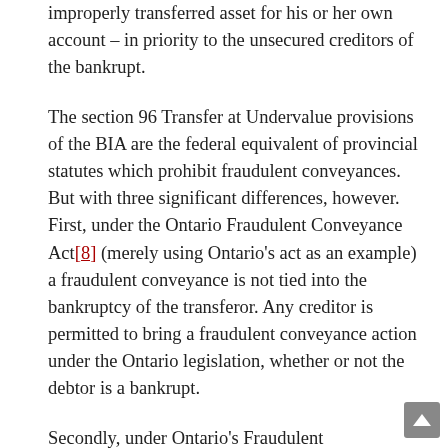improperly transferred asset for his or her own account – in priority to the unsecured creditors of the bankrupt.
The section 96 Transfer at Undervalue provisions of the BIA are the federal equivalent of provincial statutes which prohibit fraudulent conveyances. But with three significant differences, however. First, under the Ontario Fraudulent Conveyance Act[8] (merely using Ontario's act as an example) a fraudulent conveyance is not tied into the bankruptcy of the transferor. Any creditor is permitted to bring a fraudulent conveyance action under the Ontario legislation, whether or not the debtor is a bankrupt.
Secondly, under Ontario's Fraudulent Conveyance Act, the court only has the power to declare a fraudulent conveyance to be void. Under section 96 of the BIA, not only can the court declare a Transfer at Undervalue to be void, but the court can also order that the Recipient